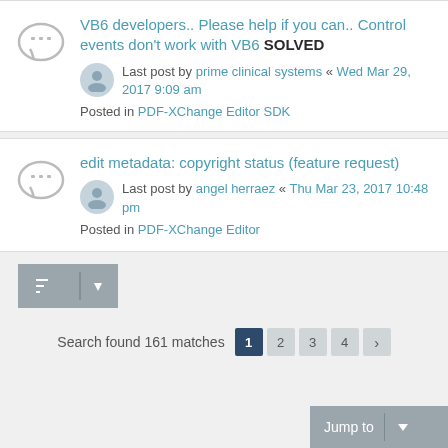VB6 developers.. Please help if you can.. Control events don't work with VB6 SOLVED — Last post by prime clinical systems « Wed Mar 29, 2017 9:09 am — Posted in PDF-XChange Editor SDK
edit metadata: copyright status (feature request) — Last post by angel herraez « Thu Mar 23, 2017 10:48 pm — Posted in PDF-XChange Editor
Search found 161 matches  1  2  3  4  >